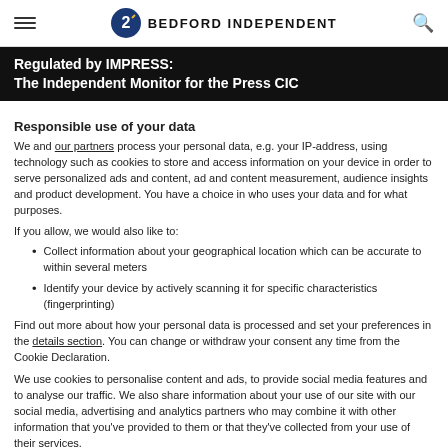Bedford Independent
Regulated by IMPRESS: The Independent Monitor for the Press CIC
Responsible use of your data
We and our partners process your personal data, e.g. your IP-address, using technology such as cookies to store and access information on your device in order to serve personalized ads and content, ad and content measurement, audience insights and product development. You have a choice in who uses your data and for what purposes.
If you allow, we would also like to:
Collect information about your geographical location which can be accurate to within several meters
Identify your device by actively scanning it for specific characteristics (fingerprinting)
Find out more about how your personal data is processed and set your preferences in the details section. You can change or withdraw your consent any time from the Cookie Declaration.
We use cookies to personalise content and ads, to provide social media features and to analyse our traffic. We also share information about your use of our site with our social media, advertising and analytics partners who may combine it with other information that you've provided to them or that they've collected from your use of their services.
Use necessary cookies only
Show details